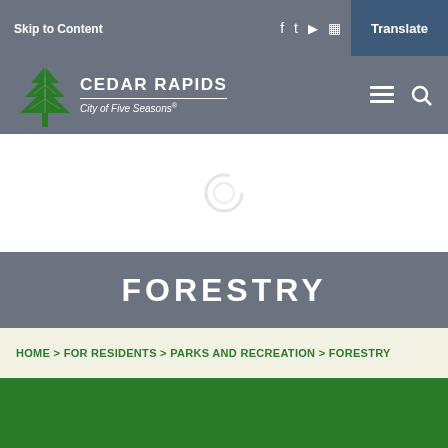Skip to Content | Translate
[Figure (logo): Cedar Rapids City of Five Seasons logo with green tree icon]
FORESTRY
HOME > FOR RESIDENTS > PARKS AND RECREATION > FORESTRY
[Figure (photo): Green banner image at bottom]